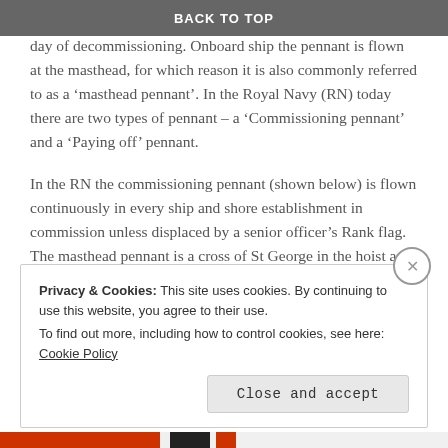BACK TO TOP
shore establishment commissioned and is never struck until the day of decommissioning. Onboard ship the pennant is flown at the masthead, for which reason it is also commonly referred to as a ‘masthead pennant’. In the Royal Navy (RN) today there are two types of pennant – a ‘Commissioning pennant’ and a ‘Paying off’ pennant.
In the RN the commissioning pennant (shown below) is flown continuously in every ship and shore establishment in commission unless displaced by a senior officer’s Rank flag. The masthead pennant is a cross of St George in the hoist and a white fly.
Privacy & Cookies: This site uses cookies. By continuing to use this website, you agree to their use.
To find out more, including how to control cookies, see here: Cookie Policy
Close and accept